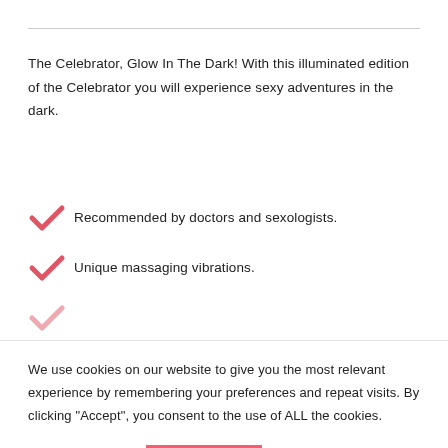The Celebrator, Glow In The Dark! With this illuminated edition of the Celebrator you will experience sexy adventures in the dark.
Recommended by doctors and sexologists.
Unique massaging vibrations.
We use cookies on our website to give you the most relevant experience by remembering your preferences and repeat visits. By clicking "Accept", you consent to the use of ALL the cookies.
Cookie settings   ACCEPT